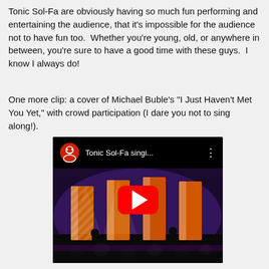Tonic Sol-Fa are obviously having so much fun performing and entertaining the audience, that it's impossible for the audience not to have fun too.  Whether you're young, old, or anywhere in between, you're sure to have a good time with these guys.  I know I always do!
One more clip: a cover of Michael Buble's "I Just Haven't Met You Yet," with crowd participation (I dare you not to sing along!).
[Figure (screenshot): YouTube video embed thumbnail showing Tonic Sol-Fa performing on stage with orange and purple stage lighting. The video title shows 'Tonic Sol-Fa singi...' with a YouTube play button overlay and the YouTube logo/icon in the top left.]